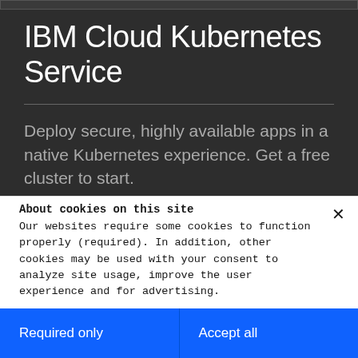IBM Cloud Kubernetes Service
Deploy secure, highly available apps in a native Kubernetes experience. Get a free cluster to start.
About cookies on this site
Our websites require some cookies to function properly (required). In addition, other cookies may be used with your consent to analyze site usage, improve the user experience and for advertising.
For more information, please review your Cookie preferences options and IBM's privacy statement.
Required only
Accept all